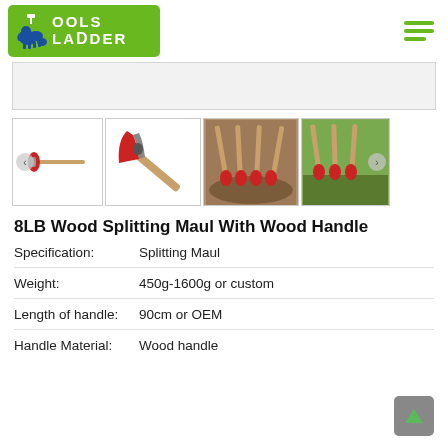Tools Ladder logo and navigation
[Figure (screenshot): Four product thumbnail images of 8LB Wood Splitting Maul: side view of full axe, close-up of axe head, multiple axes leaning against wood stump, multiple axes outdoors on grass]
8LB Wood Splitting Maul With Wood Handle
Specification: Splitting Maul
Weight: 450g-1600g or custom
Length of handle: 90cm or OEM
Handle Material: Wood handle